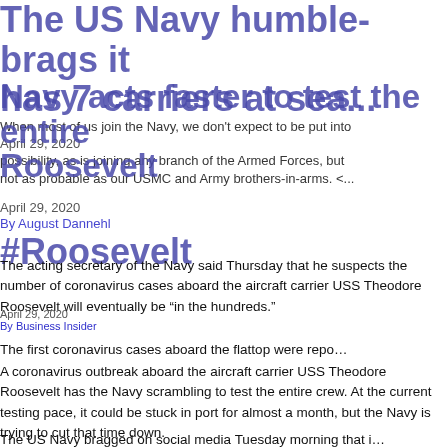The US Navy humble-brags it has 7 carriers at sea...
When most of us join the Navy, we don't expect to be put into...
April 29, 2020
By possibility, as is joining any branch of the Armed Forces, but not as probable as our USMC and Army brothers-in-arms. <...
Navy acts faster to test the entire Roosevelt
April 29, 2020
By August Dannehl
Roosevelt
The acting secretary of the Navy said Thursday that he suspects the number of coronavirus cases aboard the aircraft carrier USS Theodore Roosevelt will eventually be “in the hundreds.”
April 29, 2020
By Business Insider
The first coronavirus cases aboard the flattop were repo…
A coronavirus outbreak aboard the aircraft carrier USS Theodore Roosevelt has the Navy scrambling to test the entire crew. At the current testing pace, it could be stuck in port for almost a month, but the Navy is trying to cut that time down.
The US Navy bragged on social media Tuesday morning that i…